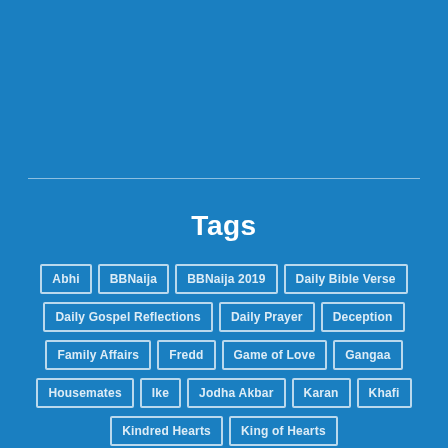Tags
Abhi
BBNaija
BBNaija 2019
Daily Bible Verse
Daily Gospel Reflections
Daily Prayer
Deception
Family Affairs
Fredd
Game of Love
Gangaa
Housemates
Ike
Jodha Akbar
Karan
Khafi
Kindred Hearts
King of Hearts
Kulfi The Singing Star
Kumkum Bhagya